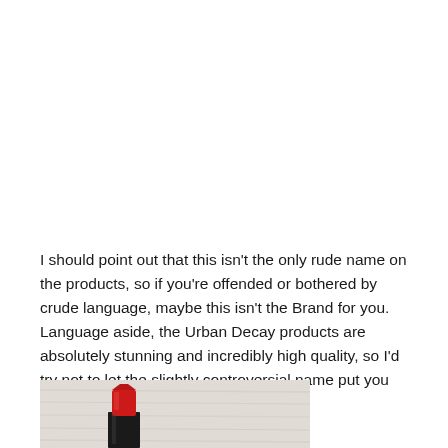I should point out that this isn't the only rude name on the products, so if you're offended or bothered by crude language, maybe this isn't the Brand for you. Language aside, the Urban Decay products are absolutely stunning and incredibly high quality, so I'd try not to let the slightly controversial name put you off.
[Figure (photo): A red lipstick with a black tube casing resting on a light wood surface, partially cropped at the bottom of the page.]